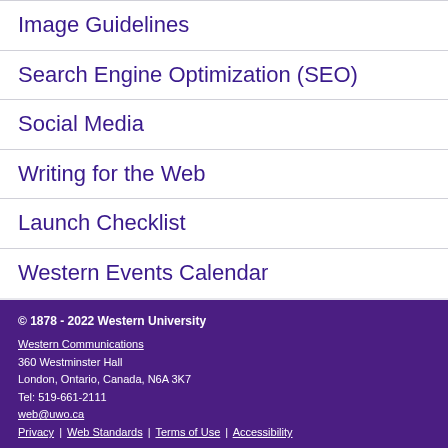Image Guidelines
Search Engine Optimization (SEO)
Social Media
Writing for the Web
Launch Checklist
Western Events Calendar
© 1878 - 2022 Western University
Western Communications
360 Westminster Hall
London, Ontario, Canada, N6A 3K7
Tel: 519-661-2111
web@uwo.ca
Privacy | Web Standards | Terms of Use | Accessibility